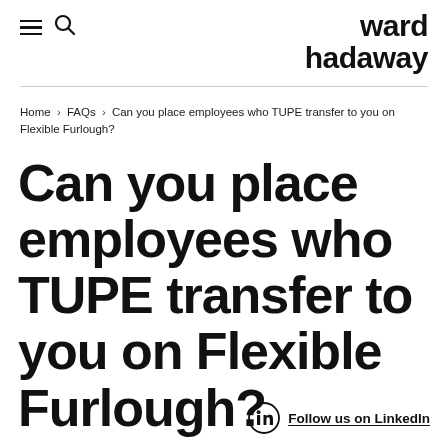ward hadaway
Home › FAQs › Can you place employees who TUPE transfer to you on Flexible Furlough?
Can you place employees who TUPE transfer to you on Flexible Furlough?
Follow us on LinkedIn